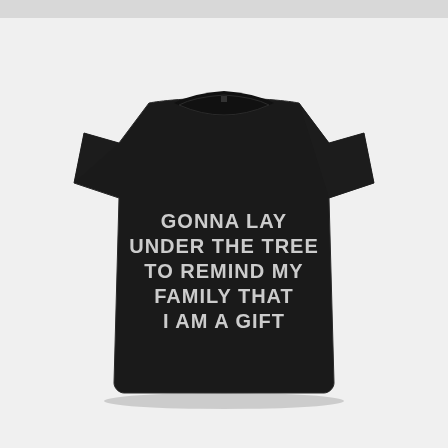[Figure (photo): A black t-shirt with white/light gray bold text reading: GONNA LAY UNDER THE TREE TO REMIND MY FAMILY THAT I AM A GIFT. Shirt is displayed flat on a white/light gray background.]